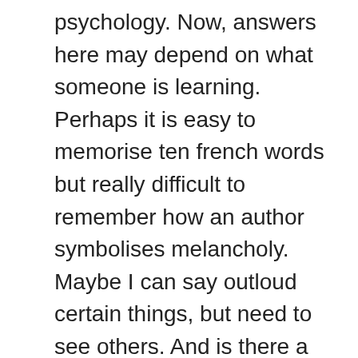psychology. Now, answers here may depend on what someone is learning. Perhaps it is easy to memorise ten french words but really difficult to remember how an author symbolises melancholy. Maybe I can say outloud certain things, but need to see others. And is there a difference in the time between learning and remembering? I purposely picked 1, 3 and 6 months in the problem because they are all, quite firmly, in the long-term memory box. If you are memorising something at 1 month then it must be in your long-term memory. But I pondered if there might be a difference (equally there